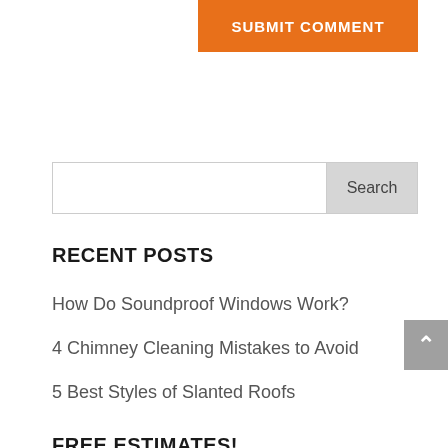[Figure (other): Orange submit comment button at the top right]
[Figure (other): Search bar with text input and Search button]
RECENT POSTS
How Do Soundproof Windows Work?
4 Chimney Cleaning Mistakes to Avoid
5 Best Styles of Slanted Roofs
FREE ESTIMATES!
Name *